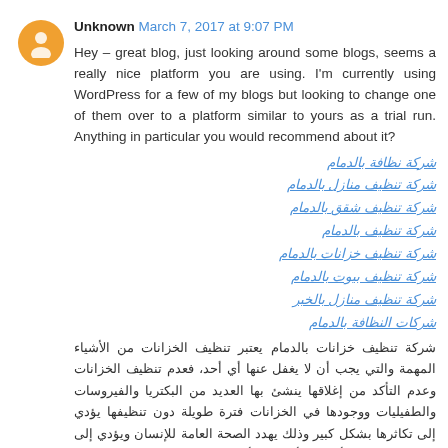Unknown March 7, 2017 at 9:07 PM
Hey – great blog, just looking around some blogs, seems a really nice platform you are using. I'm currently using WordPress for a few of my blogs but looking to change one of them over to a platform similar to yours as a trial run. Anything in particular you would recommend about it?
شركة نظافة بالدمام
شركة تنظيف منازل بالدمام
شركة تنظيف شقق بالدمام
شركة تنظيف بالدمام
شركة تنظيف خزانات بالدمام
شركة تنظيف بيوت بالدمام
شركة تنظيف منازل بالخبر
شركات النظافة بالدمام
شركة تنظيف خزانات بالدمام يعتبر تنظيف الخزانات من الأشياء المهمة والتي يجب أن لا يغفل عنها أي أحد، فعدم تنظيف الخزانات وعدم التأكد من إغلاقها ينشئ بها العديد من البكتريا والفيروسات والطفيليات ووجودها في الخزانات فترة طويلة دون تنظيفها يؤدي إلى تكاثرها بشكل كبير وذلك يهدد الصحة العامة للإنسان ويؤدي إلى إصابة الإنسان والأفراد والأطفال بالأمراض الخطيرة